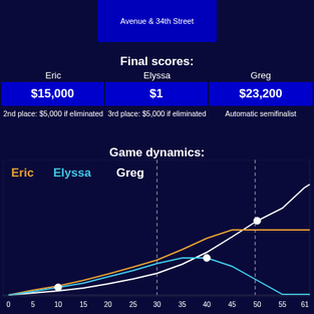[Figure (other): Top portion of game show location card showing 'Avenue & 34th Street' on dark blue background]
Final scores:
| Eric | Elyssa | Greg |
| --- | --- | --- |
| $15,000 | $1 | $23,200 |
| 2nd place: $5,000 if eliminated | 3rd place: $5,000 if eliminated | Automatic semifinalist |
Game dynamics:
[Figure (line-chart): Game dynamics]